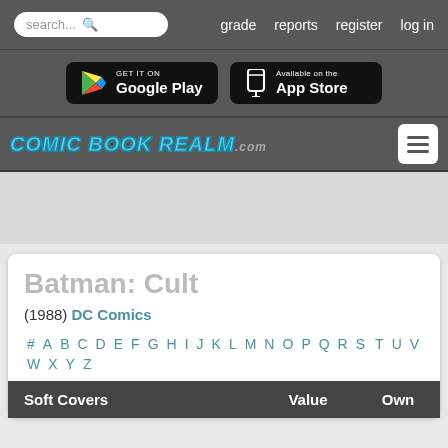search...  grade  reports  register  log in
[Figure (screenshot): Google Play and App Store download buttons on dark background]
[Figure (logo): Comic Book Realm .com logo with hamburger menu button]
Batman: Cult
(1988) DC Comics
# A B C D E F G H I J K L M N O P Q R S T U V W X Y Z
| Soft Covers | Value | Own |
| --- | --- | --- |